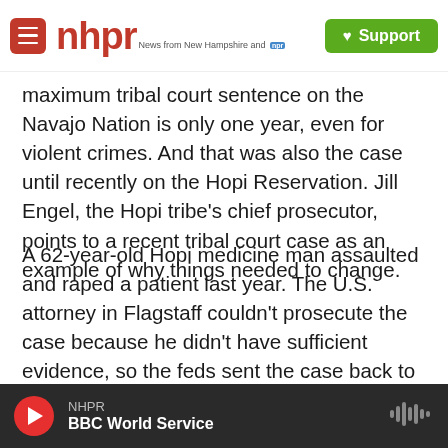nhpr — News from New Hampshire and NPR | Support
maximum tribal court sentence on the Navajo Nation is only one year, even for violent crimes. And that was also the case until recently on the Hopi Reservation. Jill Engel, the Hopi tribe's chief prosecutor, points to a recent tribal court case as an example of why things needed to change.
A 62-year-old Hopi medicine man assaulted and raped a patient last year. The U.S. attorney in Flagstaff couldn't prosecute the case because he didn't have sufficient evidence, so the feds sent the case back to tribal court.
"It...
NHPR — BBC World Service